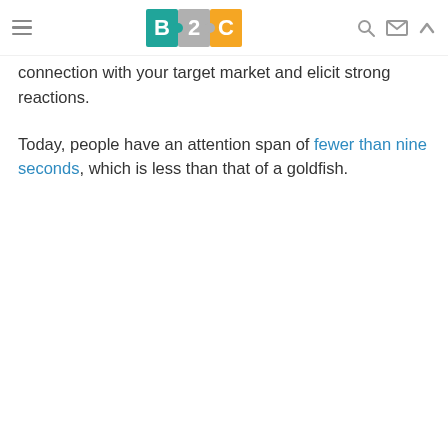B2C [logo with hamburger menu, search, mail, and up-arrow icons]
connection with your target market and elicit strong reactions.
Today, people have an attention span of fewer than nine seconds, which is less than that of a goldfish.